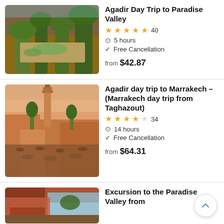[Figure (photo): Aerial view of Paradise Valley with trees, sandy ground and water]
Agadir Day Trip to Paradise Valley
★★★★½ 40
5 hours
Free Cancellation
from $42.87
[Figure (photo): Busy Marrakech square with minaret tower and crowds of people at sunset]
Agadir day trip to Marrakech - (Marrakech day trip from Taghazout)
★★★★☆ 34
14 hours
Free Cancellation
from $64.31
[Figure (photo): Partial view of rocky red canyon landscape]
Excursion to the Paradise Valley from